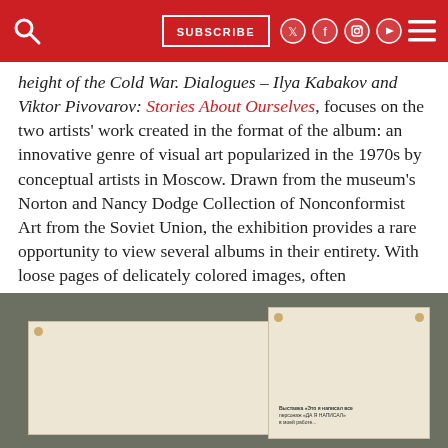Navigation bar with search, SUBSCRIBE button, social icons, and menu
height of the Cold War. Dialogues – Ilya Kabakov and Viktor Pivovarov: Stories About Ourselves, focuses on the two artists' work created in the format of the album: an innovative genre of visual art popularized in the 1970s by conceptual artists in Moscow. Drawn from the museum's Norton and Nancy Dodge Collection of Nonconformist Art from the Soviet Union, the exhibition provides a rare opportunity to view several albums in their entirety. With loose pages of delicately colored images, often complemented by handwritten texts, an album is simultaneously a drawing and a novel, an installation and a performance. They serve as an inspirational model for audience engagement, telling stories that are at once specific and universal.
[Figure (photo): Photograph showing two artwork album pages or documents on a dark olive/grey background. Left: a large cream-colored page pinned at top corners. Right: a smaller framed cream-colored page pinned at top corners with small printed text at the bottom.]